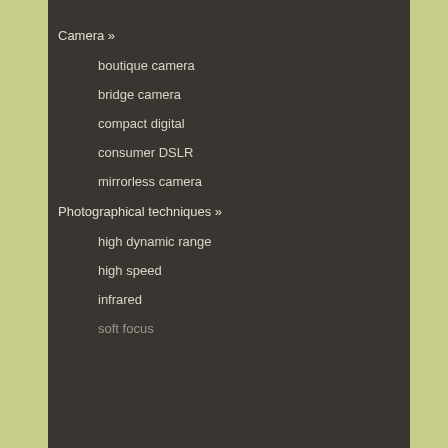Camera »
boutique camera
bridge camera
compact digital
consumer DSLR
mirrorless camera
Photographical techniques »
high dynamic range
high speed
infrared
soft focus